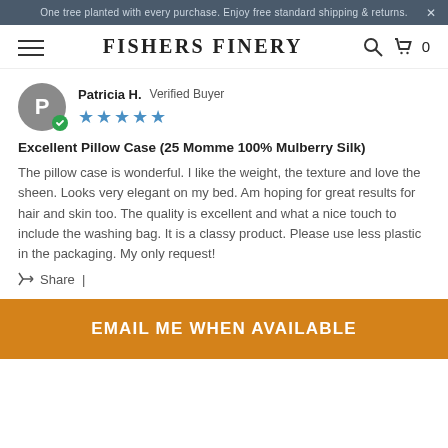One tree planted with every purchase. Enjoy free standard shipping & returns.
FISHERS FINERY
Patricia H.  Verified Buyer
★★★★★
Excellent Pillow Case (25 Momme 100% Mulberry Silk)
The pillow case is wonderful. I like the weight, the texture and love the sheen. Looks very elegant on my bed. Am hoping for great results for hair and skin too. The quality is excellent and what a nice touch to include the washing bag. It is a classy product. Please use less plastic in the packaging. My only request!
Share  |
EMAIL ME WHEN AVAILABLE